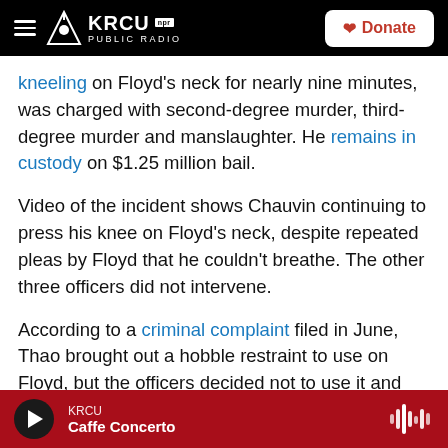KRCU NPR PUBLIC RADIO | Donate
kneeling on Floyd's neck for nearly nine minutes, was charged with second-degree murder, third-degree murder and manslaughter. He remains in custody on $1.25 million bail.
Video of the incident shows Chauvin continuing to press his knee on Floyd's neck, despite repeated pleas by Floyd that he couldn't breathe. The other three officers did not intervene.
According to a criminal complaint filed in June, Thao brought out a hobble restraint to use on Floyd, but the officers decided not to use it and instead
KRCU | Caffe Concerto